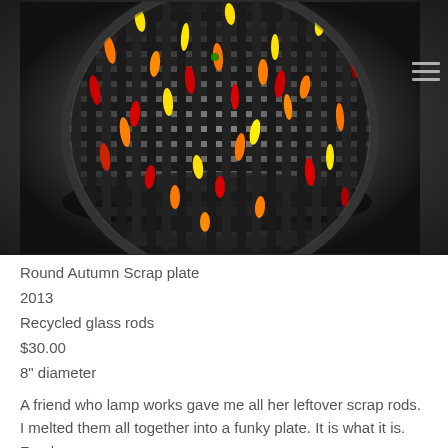[Figure (photo): Overhead photograph of a round glass plate made from recycled glass rods. The plate features a grid-like structure of black glass rods with colorful melted glass in red, orange, yellow in a woven pattern, shot against a dark gradient background. A hamburger menu icon is visible in the upper right corner.]
Round Autumn Scrap plate
2013
Recycled glass rods
$30.00
8" diameter
A friend who lamp works gave me all her leftover scrap rods. I melted them all together into a funky plate. It is what it is. Food